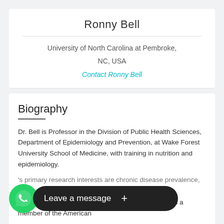Ronny Bell
University of North Carolina at Pembroke,
NC, USA
Contact Ronny Bell
Biography
Dr. Bell is Professor in the Division of Public Health Sciences, Department of Epidemiology and Prevention, at Wake Forest University School of Medicine, with training in nutrition and epidemiology.
's primary research interests are chronic disease prevalence, [with particular emphasis on ethnic minority popu...] Equity at Wake Forest. He also serves as a member of the American
[Figure (other): WhatsApp chat widget overlay with green phone icon and black 'Leave a message +' bar]